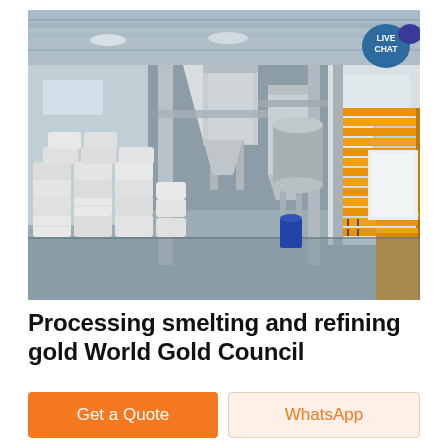[Figure (photo): Industrial factory interior with white bagged materials stacked on left, large hopper/silo structures in center, and stacks of yellow painted steel pipes or panels on right side. High metal roof with natural lighting.]
Processing smelting and refining gold World Gold Council
Get a Quote
WhatsApp